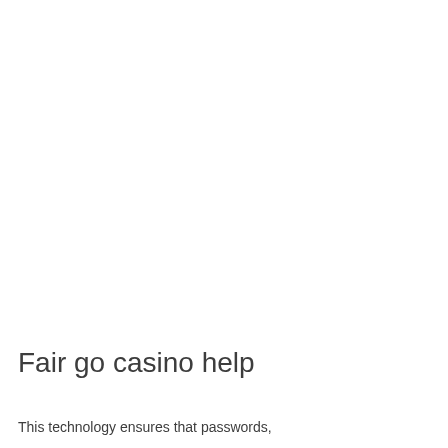Fair go casino help
This technology ensures that passwords,